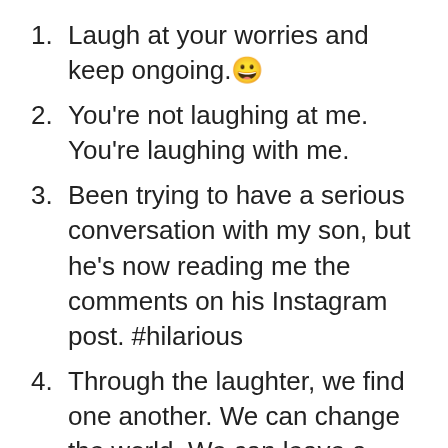Laugh at your worries and keep ongoing. 😀
You're not laughing at me. You're laughing with me.
Been trying to have a serious conversation with my son, but he's now reading me the comments on his Instagram post. #hilarious
Through the laughter, we find one another. We can change the world. We can leave a mark.
I don't know who that man is in the mirror but I think we need to be better friends.